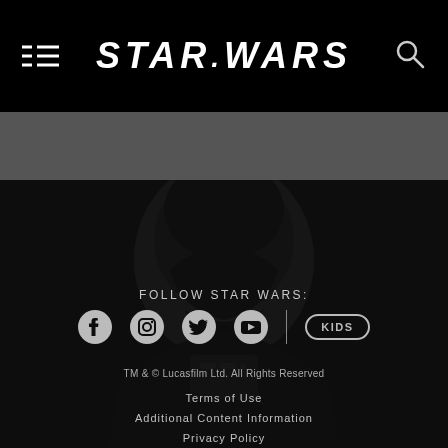STAR WARS navigation header with menu and search icons
[Figure (screenshot): Darth Vader silhouette background image in dark footer section]
FOLLOW STAR WARS:
[Figure (infographic): Social media icons row: Facebook, Instagram, Twitter, YouTube, and KIDS button]
TM & © Lucasfilm Ltd. All Rights Reserved
Terms of Use
Additional Content Information
Privacy Policy